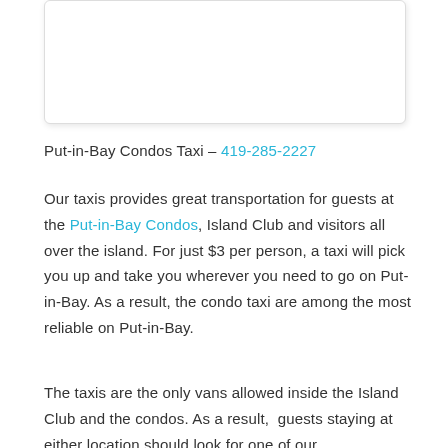[Figure (other): White box/image placeholder with rounded corners and light shadow]
Put-in-Bay Condos Taxi – 419-285-2227
Our taxis provides great transportation for guests at the Put-in-Bay Condos, Island Club and visitors all over the island. For just $3 per person, a taxi will pick you up and take you wherever you need to go on Put-in-Bay. As a result, the condo taxi are among the most reliable on Put-in-Bay.
The taxis are the only vans allowed inside the Island Club and the condos. As a result,  guests staying at either location should look for one of our